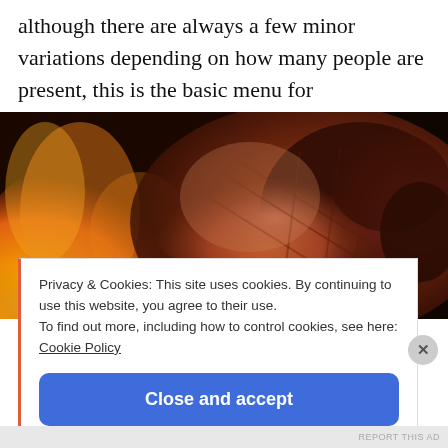although there are always a few minor variations depending on how many people are present, this is the basic menu for Thanksgiving.
[Figure (photo): Close-up photo of roasted meat (likely turkey or beef) with a char-grilled crust, set against a background of open flames and fire, giving a warm orange and brown color palette.]
Privacy & Cookies: This site uses cookies. By continuing to use this website, you agree to their use.
To find out more, including how to control cookies, see here: Cookie Policy
Close and accept
REPORT THIS AD